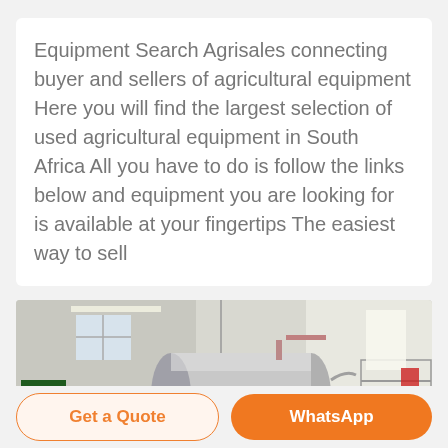Equipment Search Agrisales connecting buyer and sellers of agricultural equipment Here you will find the largest selection of used agricultural equipment in South Africa All you have to do is follow the links below and equipment you are looking for is available at your fingertips The easiest way to sell
[Figure (photo): Industrial agricultural processing equipment in a factory setting — large stainless steel horizontal tank/vessel on a support frame, with green machinery on the left and metal racks on the right, in a white-walled industrial facility.]
Get a Quote
WhatsApp